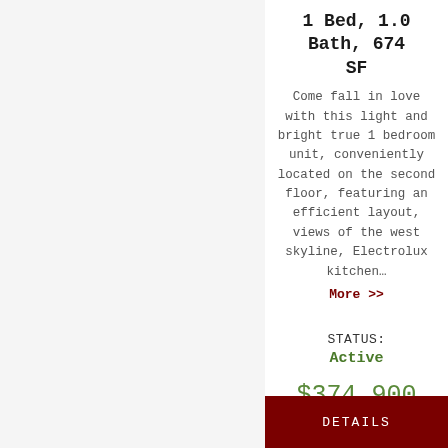1 Bed, 1.0 Bath, 674 SF
Come fall in love with this light and bright true 1 bedroom unit, conveniently located on the second floor, featuring an efficient layout, views of the west skyline, Electrolux kitchen…
More >>
STATUS: Active
$374,900
DETAILS